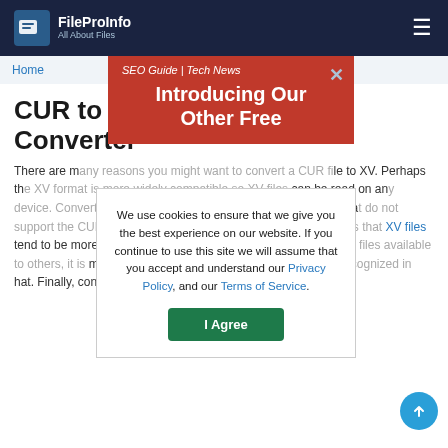FileProInfo All About Files
Home
[Figure (infographic): Red advertisement banner overlay with text 'SEO Guide | Tech News' and 'Introducing Our Other Free' with a close (x) button]
CUR to XV Converter
There are many reasons you might want to convert a CUR file to XV. Perhaps the XV format is more widely compatible so XV files can be read on any device. Converting to XV can be ideal for use on devices that do not support the CUR format. Converting a CUR to XV also means that XV files tend to be more compressed. Finally, if you want to make your files available to others, it is much easier to do so with XVfiles. XV files are recognized in that. Finally, converting files to XV format is fast and easy
We use cookies to ensure that we give you the best experience on our website. If you continue to use this site we will assume that you accept and understand our Privacy Policy, and our Terms of Service.